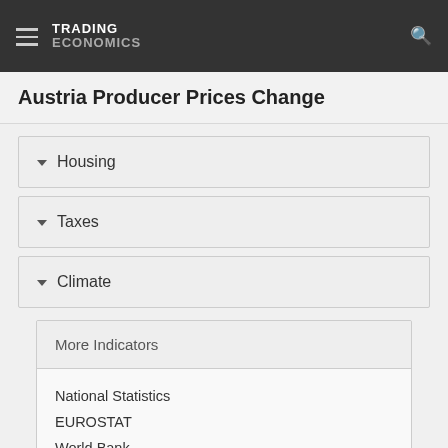TRADING ECONOMICS
Austria Producer Prices Change
Housing
Taxes
Climate
More Indicators
National Statistics
EUROSTAT
World Bank